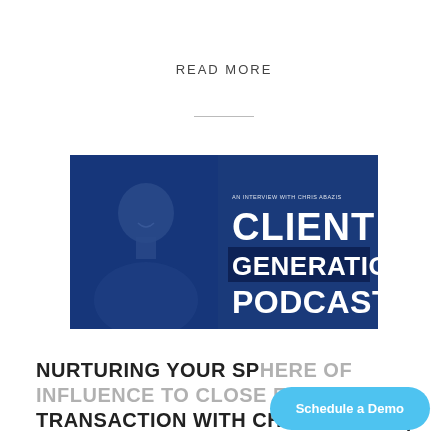READ MORE
[Figure (illustration): Client Generation Podcast promotional banner featuring a man in a suit smiling, blue background, with text 'AN INTERVIEW WITH CHRIS ABAZIS', 'CLIENT GENERATION PODCAST' in large white bold letters.]
NURTURING YOUR SP... TRANSACTION WITH CHRIS ABAZIS |